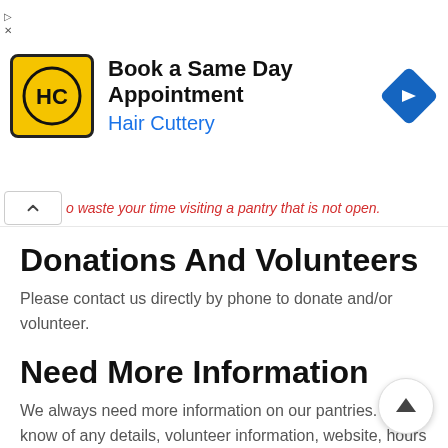[Figure (infographic): Hair Cuttery advertisement banner — yellow logo with HC initials, headline 'Book a Same Day Appointment', subtext 'Hair Cuttery' in blue, blue diamond navigation icon on right]
o waste your time visiting a pantry that is not open.
Donations And Volunteers
Please contact us directly by phone to donate and/or volunteer.
Need More Information
We always need more information on our pantries. If you know of any details, volunteer information, website, hours or more description information about St. Vincent de Paul at St. Mary's Church please add a comment below w information. We will then display this for all visitors on this